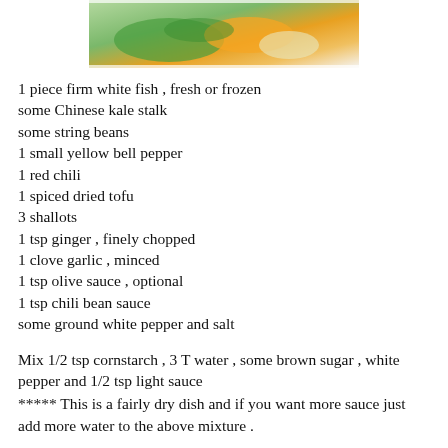[Figure (photo): Photo of a dish with green vegetables, yellow bell pepper, and white fish on a plate, partially visible at top of page.]
1 piece firm white fish , fresh or frozen
some Chinese kale stalk
some string beans
1 small yellow bell pepper
1 red chili
1 spiced dried tofu
3 shallots
1 tsp ginger , finely chopped
1 clove garlic , minced
1 tsp olive sauce , optional
1 tsp chili bean sauce
some ground white pepper and salt
Mix 1/2 tsp cornstarch , 3 T water , some brown sugar , white pepper and 1/2 tsp light sauce
***** This is a fairly dry dish and if you want more sauce just add more water to the above mixture .